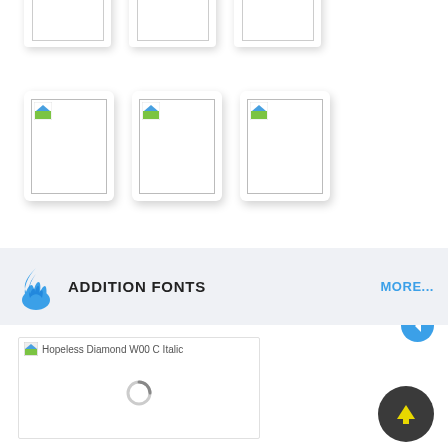[Figure (screenshot): Top partial row of three thumbnail cards partially cut off at top of page]
[Figure (screenshot): Second row of three thumbnail/font preview cards with image placeholder icons]
ADDITION FONTS
MORE...
[Figure (screenshot): Font preview card for Hopeless Diamond W00 C Italic with loading spinner]
[Figure (illustration): Blue flame icon for Addition Fonts section]
[Figure (illustration): Blue left arrow back button circle]
[Figure (illustration): Dark circle with yellow upward arrow button]